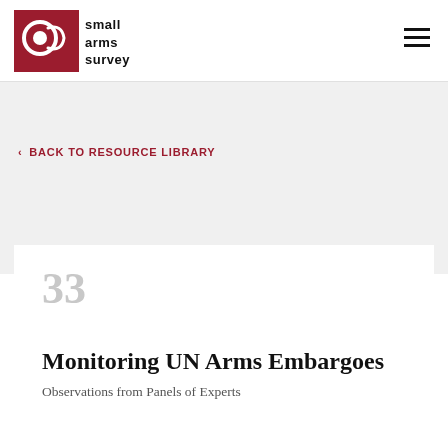small arms survey
< BACK TO RESOURCE LIBRARY
33
Monitoring UN Arms Embargoes
Observations from Panels of Experts